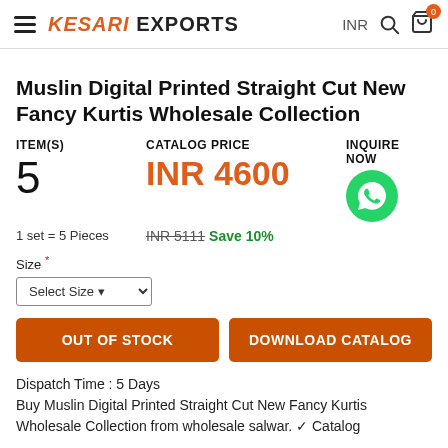KESARI EXPORTS
Muslin Digital Printed Straight Cut New Fancy Kurtis Wholesale Collection
ITEM(S)
5
1 set = 5 Pieces
CATALOG PRICE
INR 4600
INR 5111 Save 10%
INQUIRE NOW
Size *
Select Size
OUT OF STOCK
DOWNLOAD CATALOG
Dispatch Time : 5 Days
Buy Muslin Digital Printed Straight Cut New Fancy Kurtis Wholesale Collection from wholesale salwar. ✓ Catalog